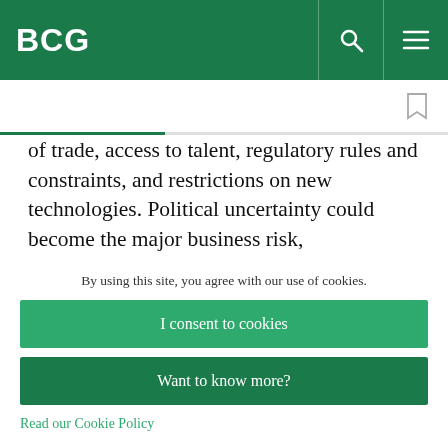BCG
of trade, access to talent, regulatory rules and constraints, and restrictions on new technologies. Political uncertainty could become the major business risk, compromising firms' ability to innovate, to access markets and talent, and to
By using this site, you agree with our use of cookies.
I consent to cookies
Want to know more?
Read our Cookie Policy